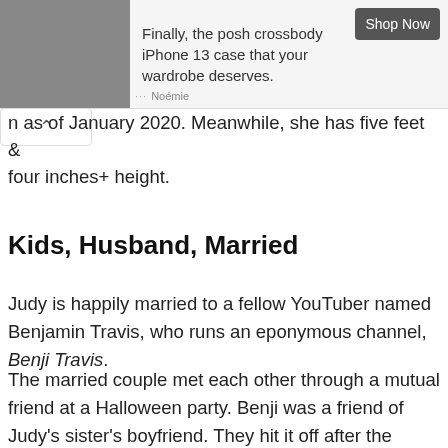[Figure (other): Advertisement banner with a product image on the left (crossbody iPhone case), ad text in the middle, and a 'Shop Now' button on the right. Labeled 'Noémie' at the bottom left.]
n as of January 2020. Meanwhile, she has five feet & four inches+ height.
Kids, Husband, Married
Judy is happily married to a fellow YouTuber named Benjamin Travis, who runs an eponymous channel, Benji Travis.
The married couple met each other through a mutual friend at a Halloween party. Benji was a friend of Judy's sister's boyfriend. They hit it off after the party.